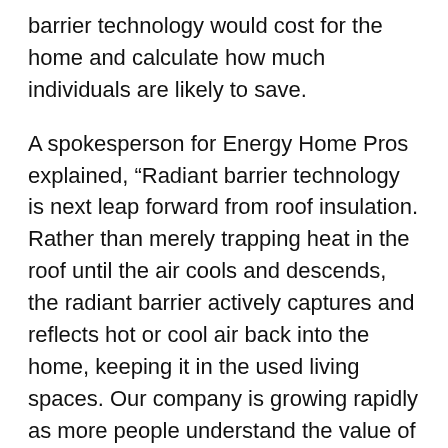barrier technology would cost for the home and calculate how much individuals are likely to save.
A spokesperson for Energy Home Pros explained, “Radiant barrier technology is next leap forward from roof insulation. Rather than merely trapping heat in the roof until the air cools and descends, the radiant barrier actively captures and reflects hot or cool air back into the home, keeping it in the used living spaces. Our company is growing rapidly as more people understand the value of these technologies. We are pleased to announce record sales as a result, and we are doing everything within our power to ensure that trend continues. Good business for us means lifelong savings for our customers.”